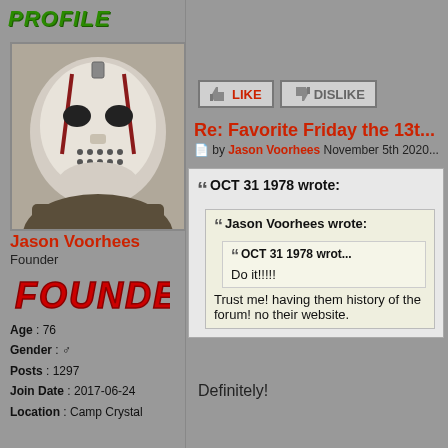Profile
[Figure (photo): Jason Voorhees hockey mask avatar photo - black and white image of the horror movie villain Jason Voorhees wearing his iconic hockey mask]
Jason Voorhees
Founder
[Figure (logo): Founder badge in red graffiti-style text]
Age : 76
Gender : [male symbol]
Posts : 1297
Join Date : 2017-06-24
Location : Camp Crystal
LIKE  DISLIKE
Re: Favorite Friday the 13t...
by Jason Voorhees November 5th 2020
OCT 31 1978 wrote:
Jason Voorhees wrote:
OCT 31 1978 wrote:
Do it!!!!!
Trust me! having them history of the forum! no their website.
Definitely!